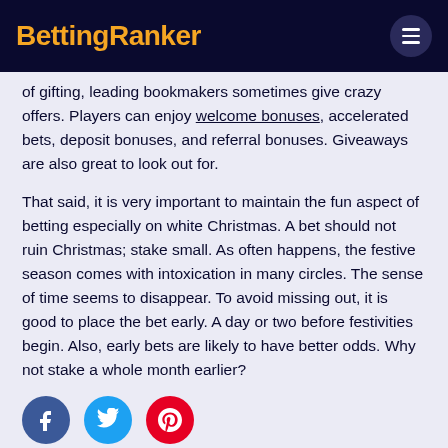BettingRanker
of gifting, leading bookmakers sometimes give crazy offers. Players can enjoy welcome bonuses, accelerated bets, deposit bonuses, and referral bonuses. Giveaways are also great to look out for.
That said, it is very important to maintain the fun aspect of betting especially on white Christmas. A bet should not ruin Christmas; stake small. As often happens, the festive season comes with intoxication in many circles. The sense of time seems to disappear. To avoid missing out, it is good to place the bet early. A day or two before festivities begin. Also, early bets are likely to have better odds. Why not stake a whole month earlier?
[Figure (infographic): Three social media icon circles: Facebook (blue), Twitter (cyan), Pinterest (red)]